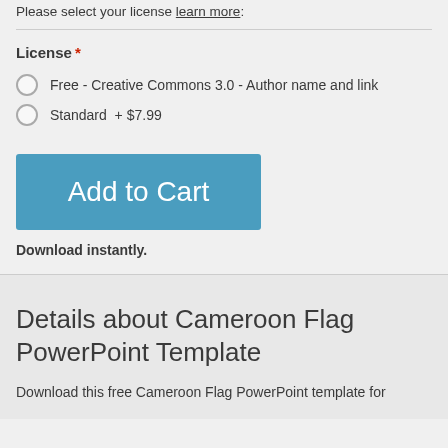Please select your license learn more:
License *
Free - Creative Commons 3.0 - Author name and link
Standard  + $7.99
Add to Cart
Download instantly.
Details about Cameroon Flag PowerPoint Template
Download this free Cameroon Flag PowerPoint template for